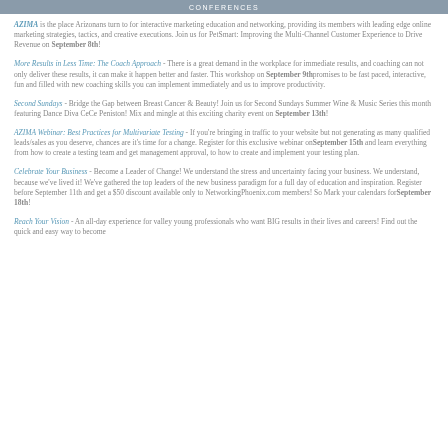CONFERENCES
AZIMA is the place Arizonans turn to for interactive marketing education and networking, providing its members with leading edge online marketing strategies, tactics, and creative executions. Join us for PetSmart: Improving the Multi-Channel Customer Experience to Drive Revenue on September 8th!
More Results in Less Time: The Coach Approach - There is a great demand in the workplace for immediate results, and coaching can not only deliver these results, it can make it happen better and faster. This workshop on September 9th promises to be fast paced, interactive, fun and filled with new coaching skills you can implement immediately and us to improve productivity.
Second Sundays - Bridge the Gap between Breast Cancer & Beauty! Join us for Second Sundays Summer Wine & Music Series this month featuring Dance Diva CeCe Peniston! Mix and mingle at this exciting charity event on September 13th!
AZIMA Webinar: Best Practices for Multivariate Testing - If you're bringing in traffic to your website but not generating as many qualified leads/sales as you deserve, chances are it's time for a change. Register for this exclusive webinar on September 15th and learn everything from how to create a testing team and get management approval, to how to create and implement your testing plan.
Celebrate Your Business - Become a Leader of Change! We understand the stress and uncertainty facing your business. We understand, because we've lived it! We've gathered the top leaders of the new business paradigm for a full day of education and inspiration. Register before September 11th and get a $50 discount available only to NetworkingPhoenix.com members! So Mark your calendars for September 18th!
Reach Your Vision - An all-day experience for valley young professionals who want BIG results in their lives and careers! Find out the quick and easy way to become